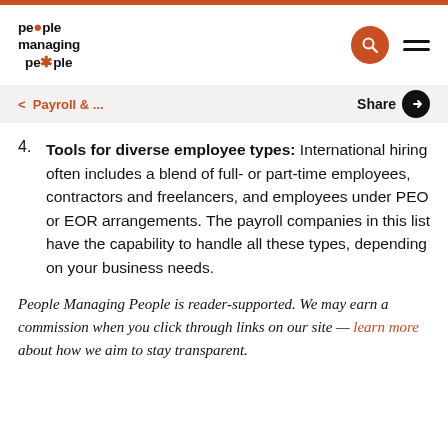people managing people
< Payroll & ...    Share
4. Tools for diverse employee types: International hiring often includes a blend of full- or part-time employees, contractors and freelancers, and employees under PEO or EOR arrangements. The payroll companies in this list have the capability to handle all these types, depending on your business needs.
People Managing People is reader-supported. We may earn a commission when you click through links on our site — learn more about how we aim to stay transparent.